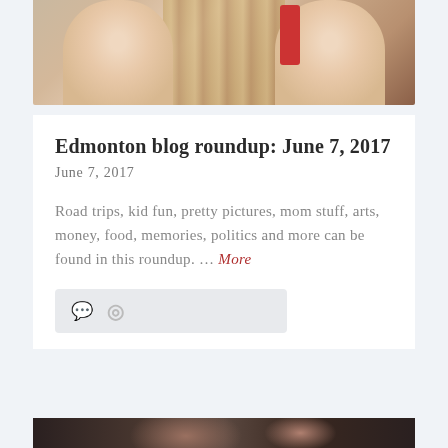[Figure (photo): Top portion of photo showing two wrists/forearms side by side against a wooden background with a red accent, partially cropped at top]
Edmonton blog roundup: June 7, 2017
June 7, 2017
Road trips, kid fun, pretty pictures, mom stuff, arts, money, food, memories, politics and more can be found in this roundup. … More
[Figure (other): Meta bar with comment icon and link/share icon on light gray background]
[Figure (photo): Bottom edge of another photo, showing dark hair or dark tones, partially cropped]